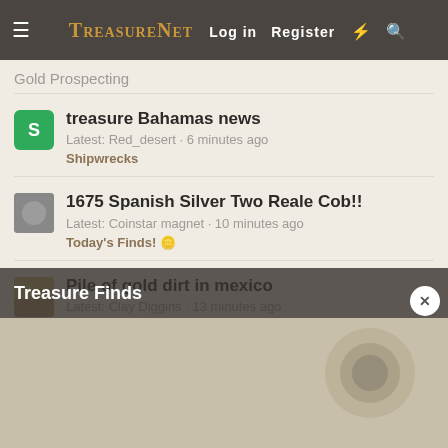TreasureNet  Log in  Register
Gold Prospecting
treasure Bahamas news
Latest: Red_desert · 6 minutes ago
Shipwrecks
1675 Spanish Silver Two Reale Cob!!
Latest: Coinstar magnet · 10 minutes ago
Today's Finds! 🪙
Pile of gold dirt in mexico
Latest: Clay Diggins · 13 minutes ago
Gold Prospecting
Treasure Finds